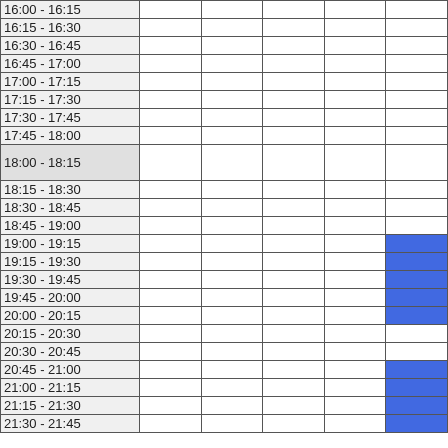| Time |  |  |  |  |  |
| --- | --- | --- | --- | --- | --- |
| 16:00 - 16:15 |  |  |  |  |  |
| 16:15 - 16:30 |  |  |  |  |  |
| 16:30 - 16:45 |  |  |  |  |  |
| 16:45 - 17:00 |  |  |  |  |  |
| 17:00 - 17:15 |  |  |  |  |  |
| 17:15 - 17:30 |  |  |  |  |  |
| 17:30 - 17:45 |  |  |  |  |  |
| 17:45 - 18:00 |  |  |  |  |  |
| 18:00 - 18:15 |  |  |  |  |  |
| 18:15 - 18:30 |  |  |  |  |  |
| 18:30 - 18:45 |  |  |  |  |  |
| 18:45 - 19:00 |  |  |  |  |  |
| 19:00 - 19:15 |  |  |  |  |  |
| 19:15 - 19:30 |  |  |  |  |  |
| 19:30 - 19:45 |  |  |  |  |  |
| 19:45 - 20:00 |  |  |  |  |  |
| 20:00 - 20:15 |  |  |  |  |  |
| 20:15 - 20:30 |  |  |  |  |  |
| 20:30 - 20:45 |  |  |  |  |  |
| 20:45 - 21:00 |  |  |  |  |  |
| 21:00 - 21:15 |  |  |  |  |  |
| 21:15 - 21:30 |  |  |  |  |  |
| 21:30 - 21:45 |  |  |  |  |  |